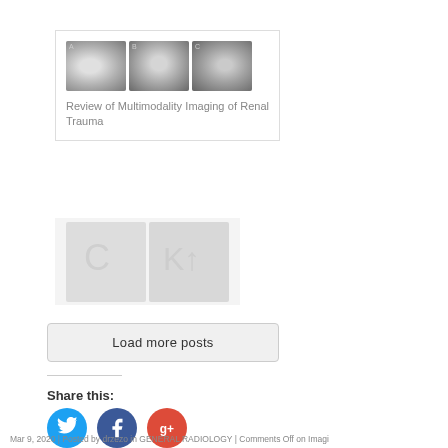[Figure (photo): Three MRI scan images shown in a card thumbnail — axial cross-sections of the abdomen/renal region]
Review of Multimodality Imaging of Renal Trauma
[Figure (photo): Faded/blurred card with two partially visible medical images]
Load more posts
Share this:
[Figure (illustration): Social media share buttons: Twitter (blue), Facebook (dark blue), Google+ (red)]
Mar 9, 2020 | Posted by drzezo in GENERAL RADIOLOGY | Comments Off on Imagi